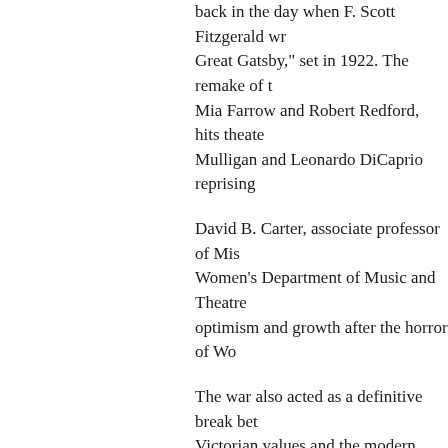back in the day when F. Scott Fitzgerald wr... Great Gatsby," set in 1922. The remake of t... Mia Farrow and Robert Redford, hits theate... Mulligan and Leonardo DiCaprio reprising
David B. Carter, associate professor of Mis... Women's Department of Music and Theatre... optimism and growth after the horror of Wo...
The war also acted as a definitive break bet... Victorian values and the modern world.
"Young people, in particular, saw no reason... social mores," he said. "They had money, fr... like the automobile and the phonograph, an... life that was dull and constricting."
There was a dark side, however. "The gene... war had a deep mistrust for the elder genera... mistakes that led to war," Carter said, "so th... rootlessness, a sense of loneliness of the bri...